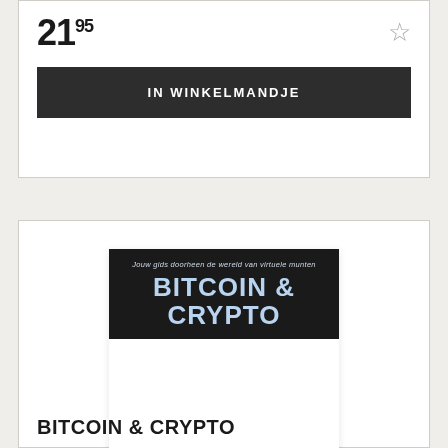21.95
IN WINKELMANDJE
[Figure (illustration): Book cover for Bitcoin & Crypto with dark background and light blue bold title text, subtitle reads 'Jouw gids doorheen de wereld van virtuele munten']
BITCOIN & CRYPTO